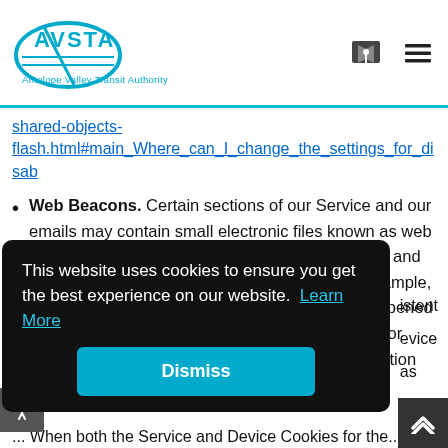[Figure (logo): Antelope Valley Transit Authority (AVTA) logo with blue swoosh design and text 'Antelope Valley Transit Authority']
shared-objects-flash.html#main_Where_can_I_change_the_settings_for_disa (link, truncated)
Web Beacons. Certain sections of our Service and our emails may contain small electronic files known as web beacons (also referred to as clear gifs, pixel tags, and single-pixel gifs) that permit the Company, for example, to count users who have visited those pages or opened an email and for other related website statistics (for example, recording the popularity of a certain section and verifying system and server integrity).
...istent ...evice ...as ...re
This website uses cookies to ensure you get the best experience on our website. Learn More
Dismiss
...When both the Service and Device Cookies for the...